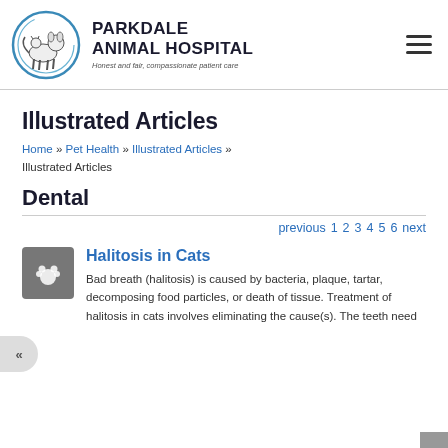[Figure (logo): Parkdale Animal Hospital logo: circular emblem with animals (dog, cat) silhouette and blue ring, next to bold text 'PARKDALE ANIMAL HOSPITAL' and tagline 'Honest and fair, compassionate patient care']
Illustrated Articles
Home » Pet Health » Illustrated Articles » Illustrated Articles
Dental
previous  1  2  3  4  5  6  next
Halitosis in Cats
Bad breath (halitosis) is caused by bacteria, plaque, tartar, decomposing food particles, or death of tissue. Treatment of halitosis in cats involves eliminating the cause(s). The teeth need